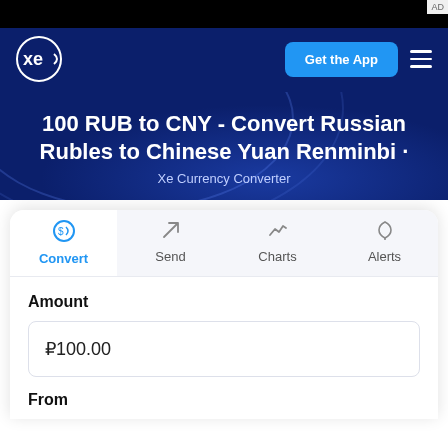AD
[Figure (logo): XE currency converter logo - white xe text in a circle on dark blue background]
100 RUB to CNY - Convert Russian Rubles to Chinese Yuan Renminbi
Xe Currency Converter
Convert
Send
Charts
Alerts
Amount
₽100.00
From